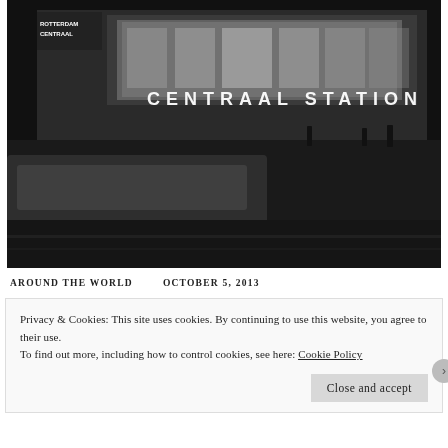[Figure (photo): Black and white night photograph of Rotterdam Centraal Station. The illuminated sign reads 'CENTRAAL STATION' across the front of the building. A blurred vehicle passes in the foreground, people are visible near the entrance, and the scene has a dramatic long-exposure quality.]
AROUND THE WORLD    OCTOBER 5, 2013
Privacy & Cookies: This site uses cookies. By continuing to use this website, you agree to their use.
To find out more, including how to control cookies, see here: Cookie Policy
Close and accept